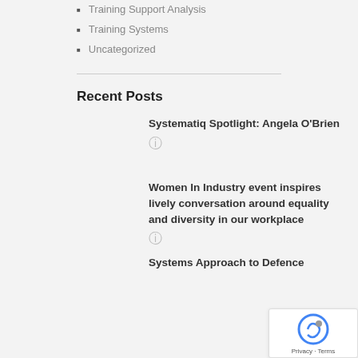Training Support Analysis
Training Systems
Uncategorized
Recent Posts
Systematiq Spotlight: Angela O'Brien
Women In Industry event inspires lively conversation around equality and diversity in our workplace
Systems Approach to Defence